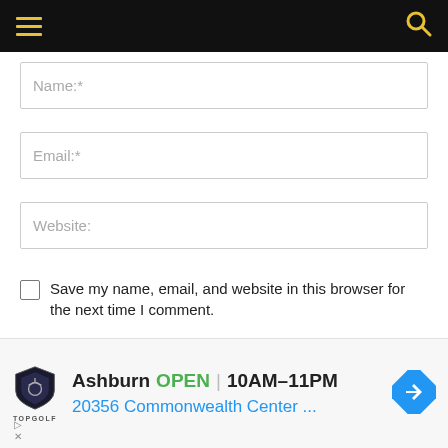[Figure (screenshot): Black navigation bar with yellow/gold hamburger menu icon on left and yellow/gold search icon on right]
Name:*
Email:*
Website:
Save my name, email, and website in this browser for the next time I comment.
POST COMMENT
[Figure (screenshot): Scroll/collapse chevron indicator button]
[Figure (infographic): Topgolf advertisement banner showing: Ashburn OPEN | 10AM-11PM, 20356 Commonwealth Center ..., with Topgolf shield logo and blue direction arrow icon]